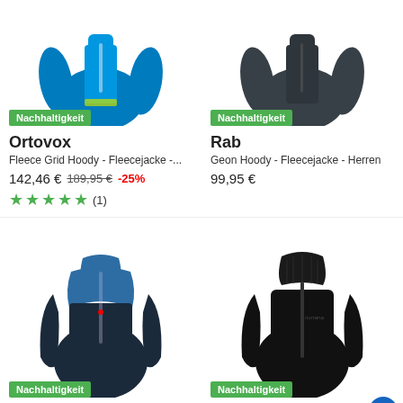[Figure (photo): Ortovox Fleece Grid Hoody - teal fleece jacket product image with Nachhaltigkeit badge]
Nachhaltigkeit
Ortovox
Fleece Grid Hoody - Fleecejacke -...
142,46 €  189,95 €  -25%
★★★★★ (1)
[Figure (photo): Rab Geon Hoody - dark grey fleece jacket product image with Nachhaltigkeit badge]
Nachhaltigkeit
Rab
Geon Hoody - Fleecejacke - Herren
99,95 €
[Figure (photo): Rab navy/blue two-tone fleece jacket product image with Nachhaltigkeit badge]
Nachhaltigkeit
Rab
[Figure (photo): Norrona black fleece jacket product image with Nachhaltigkeit badge]
Nachhaltigkeit
Norrona